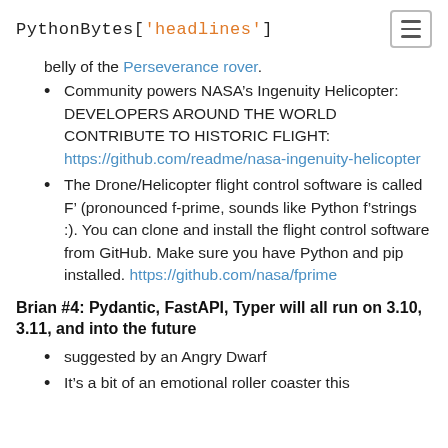PythonBytes['headlines']
belly of the Perseverance rover.
Community powers NASA’s Ingenuity Helicopter: DEVELOPERS AROUND THE WORLD CONTRIBUTE TO HISTORIC FLIGHT: https://github.com/readme/nasa-ingenuity-helicopter
The Drone/Helicopter flight control software is called F’ (pronounced f-prime, sounds like Python f’strings :). You can clone and install the flight control software from GitHub. Make sure you have Python and pip installed. https://github.com/nasa/fprime
Brian #4: Pydantic, FastAPI, Typer will all run on 3.10, 3.11, and into the future
suggested by an Angry Dwarf
It’s a bit of an emotional roller coaster this